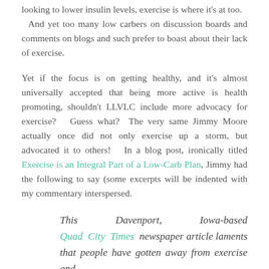looking to lower insulin levels, exercise is where it's at too. And yet too many low carbers on discussion boards and comments on blogs and such prefer to boast about their lack of exercise.
Yet if the focus is on getting healthy, and it's almost universally accepted that being more active is health promoting, shouldn't LLVLC include more advocacy for exercise? Guess what? The very same Jimmy Moore actually once did not only exercise up a storm, but advocated it to others! In a blog post, ironically titled Exercise is an Integral Part of a Low-Carb Plan, Jimmy had the following to say (some excerpts will be indented with my commentary interspersed.
This Davenport, Iowa-based Quad City Times newspaper article laments that people have gotten away from exercise and